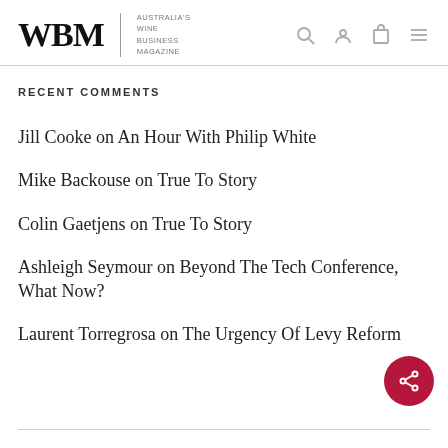WBM | Australia's Wine Business Magazine
RECENT COMMENTS
Jill Cooke on An Hour With Philip White
Mike Backouse on True To Story
Colin Gaetjens on True To Story
Ashleigh Seymour on Beyond The Tech Conference, What Now?
Laurent Torregrosa on The Urgency Of Levy Reform